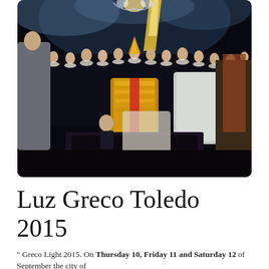[Figure (photo): A painting depicting the Burial of the Count of Orgaz by El Greco, showing ornately dressed clergy and mourners with heavenly figures above.]
Luz Greco Toledo 2015
" Greco Light 2015. On Thursday 10, Friday 11 and Saturday 12 of September the city of